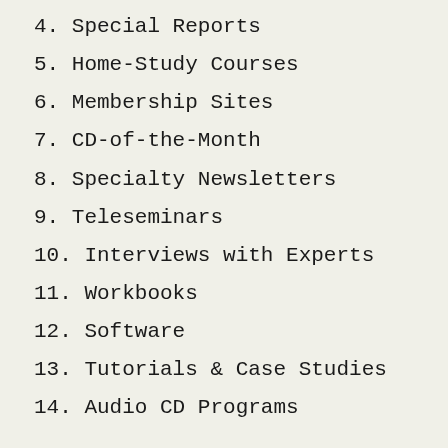4. Special Reports
5. Home-Study Courses
6. Membership Sites
7. CD-of-the-Month
8. Specialty Newsletters
9. Teleseminars
10. Interviews with Experts
11. Workbooks
12. Software
13. Tutorials & Case Studies
14. Audio CD Programs